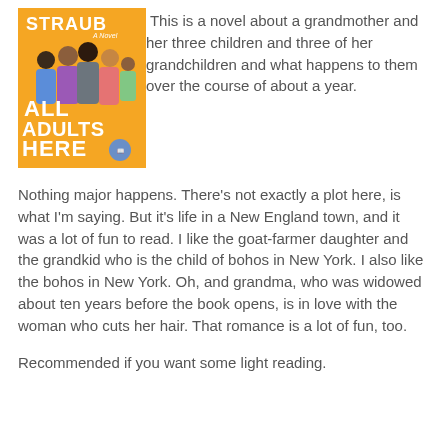[Figure (illustration): Book cover of 'All Adults Here' by Emma Straub. Yellow/orange background with illustrated figures of adults and children seen from behind. Bold white text reads: STRAUB / A Novel / ALL / ADULTS / HERE. Small circular logo at bottom.]
This is a novel about a grandmother and her three children and three of her grandchildren and what happens to them over the course of about a year.
Nothing major happens. There’s not exactly a plot here, is what I'm saying. But it's life in a New England town, and it was a lot of fun to read. I like the goat-farmer daughter and the grandkid who is the child of bohos in New York. I also like the bohos in New York. Oh, and grandma, who was widowed about ten years before the book opens, is in love with the woman who cuts her hair. That romance is a lot of fun, too.
Recommended if you want some light reading.